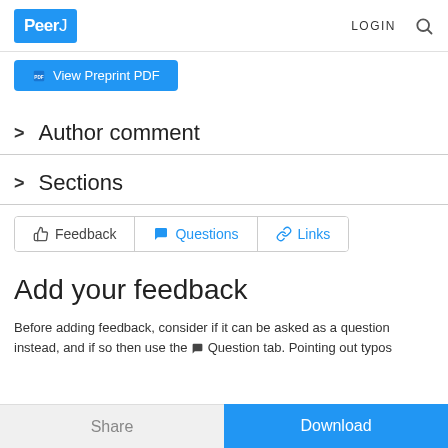PeerJ  LOGIN 🔍
[Figure (screenshot): Blue button labeled 'View Preprint PDF']
> Author comment
> Sections
[Figure (screenshot): Tab bar with Feedback, Questions, and Links tabs]
Add your feedback
Before adding feedback, consider if it can be asked as a question instead, and if so then use the 💬 Question tab. Pointing out typos